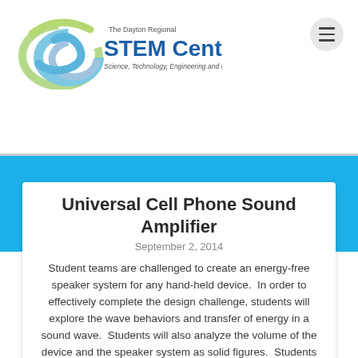[Figure (logo): The Dayton Regional STEM Center logo with swoosh graphic and text 'Science, Technology, Engineering and Math']
Universal Cell Phone Sound Amplifier
September 2, 2014
Student teams are challenged to create an energy-free speaker system for any hand-held device.  In order to effectively complete the design challenge, students will explore the wave behaviors and transfer of energy in a sound wave.  Students will also analyze the volume of the device and the speaker system as solid figures.  Students will study